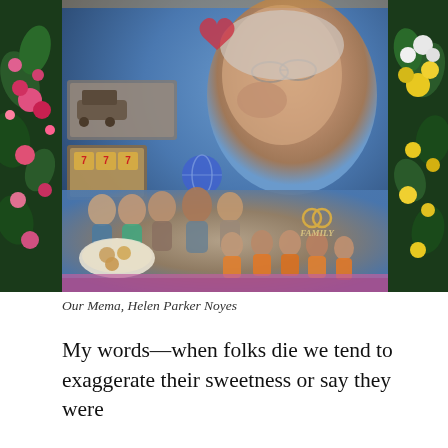[Figure (photo): A memorial collage photo display on an easel at a funeral or memorial service. The large poster-style photo features an elderly woman (Helen Parker Noyes) smiling at top right, surrounded by family group photos, food images, and decorative elements. The display is flanked by floral arrangements — pink and red flowers on the left, yellow and white flowers on the right. The word FAMILY appears on a decorative emblem in the lower right of the collage.]
Our Mema, Helen Parker Noyes
My words—when folks die we tend to exaggerate their sweetness or say they were